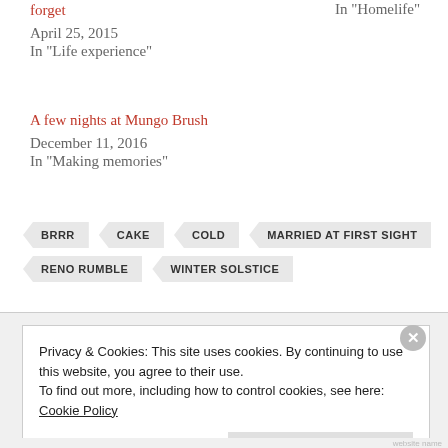forget
April 25, 2015
In "Life experience"
In "Homelife"
A few nights at Mungo Brush
December 11, 2016
In "Making memories"
BRRR
CAKE
COLD
MARRIED AT FIRST SIGHT
RENO RUMBLE
WINTER SOLSTICE
Privacy & Cookies: This site uses cookies. By continuing to use this website, you agree to their use. To find out more, including how to control cookies, see here: Cookie Policy
Close and accept